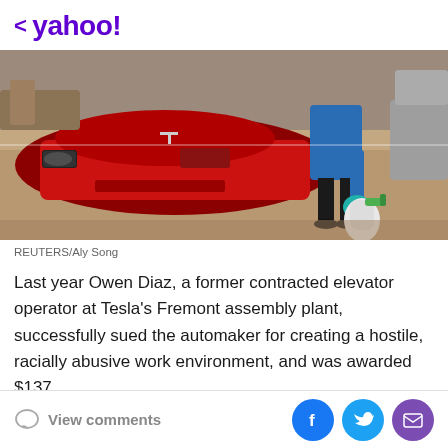< yahoo!
[Figure (photo): A person in a blue top and black pants wearing a teal glove, carrying a white spray bottle with a green nozzle, walking past a red Tesla car in a showroom with wooden flooring.]
REUTERS/Aly Song
Last year Owen Diaz, a former contracted elevator operator at Tesla's Fremont assembly plant, successfully sued the automaker for creating a hostile, racially abusive work environment, and was awarded $137 million in damages. The case has now entered a new phase...
View comments